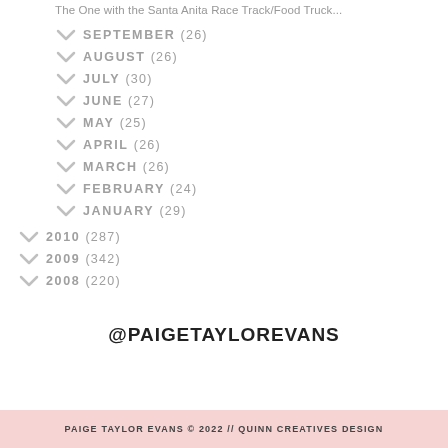The One with the Santa Anita Race Track/Food Truck...
SEPTEMBER (26)
AUGUST (26)
JULY (30)
JUNE (27)
MAY (25)
APRIL (26)
MARCH (26)
FEBRUARY (24)
JANUARY (29)
2010 (287)
2009 (342)
2008 (220)
@PAIGETAYLOREVANS
PAIGE TAYLOR EVANS © 2022 // QUINN CREATIVES DESIGN